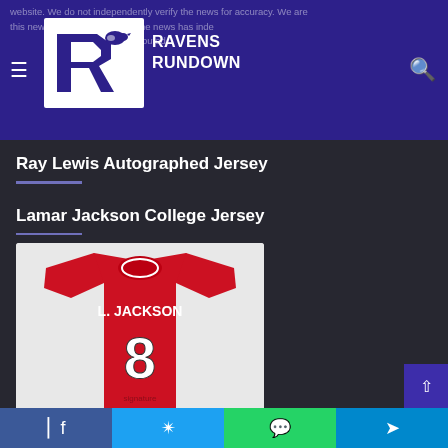[Figure (screenshot): Ravens Rundown website header with logo, hamburger menu, and search icon on purple background]
Ray Lewis Autographed Jersey
Lamar Jackson College Jersey
[Figure (photo): Red Lamar Jackson #8 L. JACKSON college jersey displayed on white background]
Facebook | Twitter | WhatsApp | Telegram social share buttons